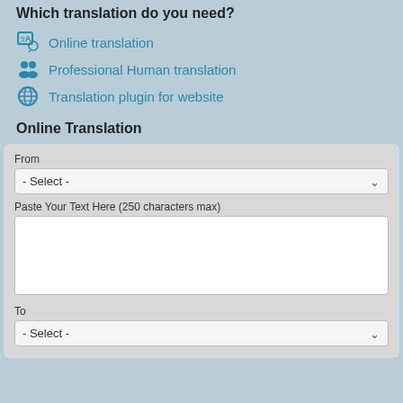Which translation do you need?
Online translation
Professional Human translation
Translation plugin for website
Online Translation
From
- Select -
Paste Your Text Here (250 characters max)
To
- Select -